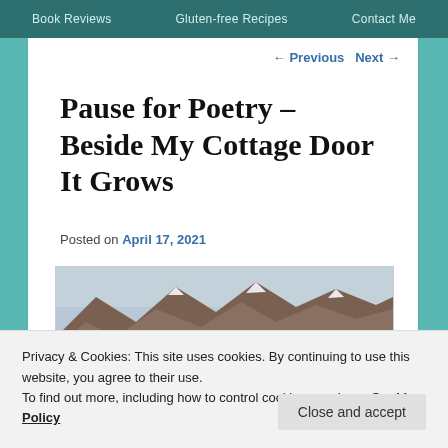Book Reviews   Gluten-free Recipes   Contact Me
← Previous   Next →
Pause for Poetry – Beside My Cottage Door It Grows
Posted on April 17, 2021
[Figure (photo): Mountain landscape photo with rocky peaks under a cloudy sky]
Privacy & Cookies: This site uses cookies. By continuing to use this website, you agree to their use.
To find out more, including how to control cookies, see here: Cookie Policy